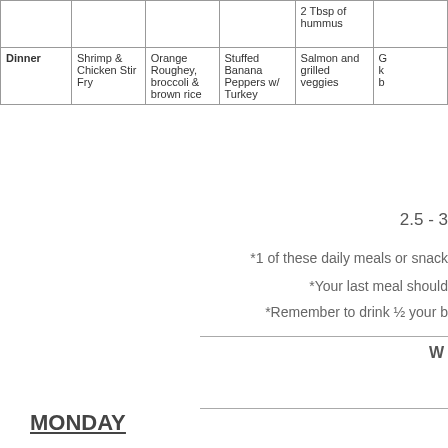|  | Mon | Tue | Wed | Thu | Fri |
| --- | --- | --- | --- | --- | --- |
|  |  |  |  | 2 Tbsp of hummus |  |
| Dinner | Shrimp & Chicken Stir Fry | Orange Roughey, broccoli & brown rice | Stuffed Banana Peppers w/ Turkey | Salmon and grilled veggies | G...k...b... |
2.5 - 3
*1 of these daily meals or snack
*Your last meal should
*Remember to drink ½ your b
W
MONDAY